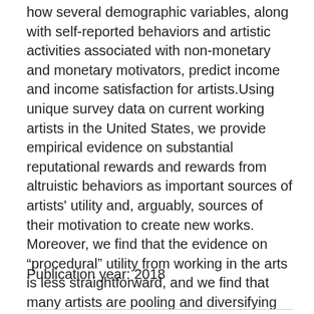how several demographic variables, along with self-reported behaviors and artistic activities associated with non-monetary and monetary motivators, predict income and income satisfaction for artists.Using unique survey data on current working artists in the United States, we provide empirical evidence on substantial reputational rewards and rewards from altruistic behaviors as important sources of artists' utility and, arguably, sources of their motivation to create new works. Moreover, we find that the evidence on “procedural” utility from working in the arts is less straightforward, and we find that many artists are pooling and diversifying financial risks on household levels. Overall, quantitative findings indicate that artists may have different criteria and conceptualizations when it comes to income, and they may derive value from their work in a variety of ways aside from income.
Publication year: 2018